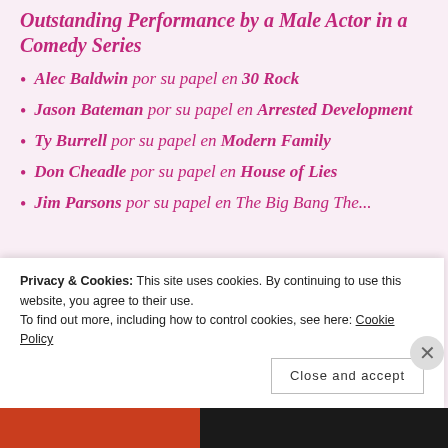Outstanding Performance by a Male Actor in a Comedy Series
Alec Baldwin por su papel en 30 Rock
Jason Bateman por su papel en Arrested Development
Ty Burrell por su papel en Modern Family
Don Cheadle por su papel en House of Lies
Jim Parsons por su papel en The Big Bang Theory
Privacy & Cookies: This site uses cookies. By continuing to use this website, you agree to their use.
To find out more, including how to control cookies, see here: Cookie Policy
Close and accept